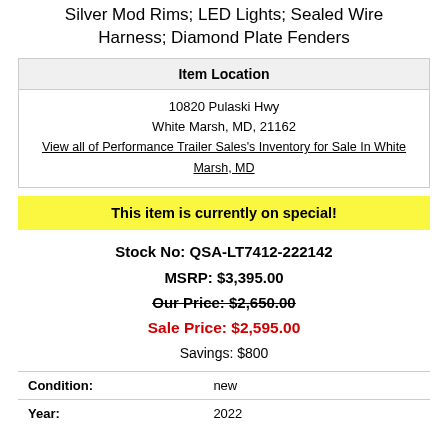Silver Mod Rims; LED Lights; Sealed Wire Harness; Diamond Plate Fenders
| Item Location |
| --- |
| 10820 Pulaski Hwy
White Marsh, MD, 21162
View all of Performance Trailer Sales's Inventory for Sale In White Marsh, MD |
This item is currently on special!
Stock No: QSA-LT7412-222142
MSRP: $3,395.00
Our Price: $2,650.00
Sale Price: $2,595.00
Savings: $800
| Condition: | new |
| --- | --- |
| Year: | 2022 |